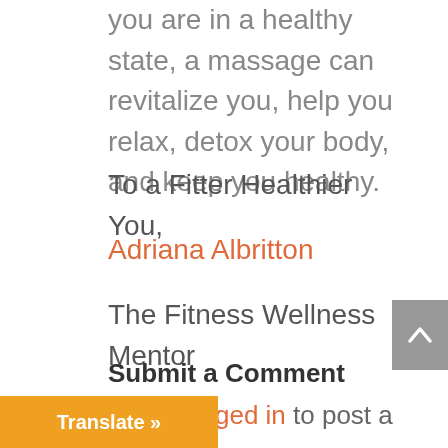you are in a healthy state, a massage can revitalize you, help you relax, detox your body, and keep you healthy.
To a Fitter Healthier You,
Adriana Albritton
The Fitness Wellness Mentor
Submit a Comment
be logged in to post a